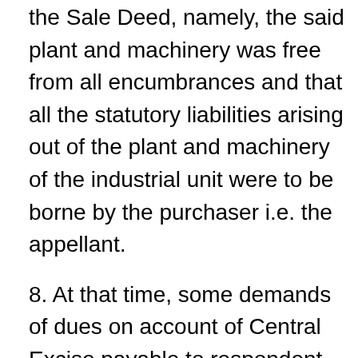the Sale Deed, namely, the said plant and machinery was free from all encumbrances and that all the statutory liabilities arising out of the plant and machinery of the industrial unit were to be borne by the purchaser i.e. the appellant.
8. At that time, some demands of dues on account of Central Excise payable to respondent No.2 were pending. It appears that the borrower had filed two appeals against the Order-in-Original dated 29.8.2002 in this behalf. These two appeals were dismissed by the CESTAT on 30th April 2003 on account of non-compliance of the pre-